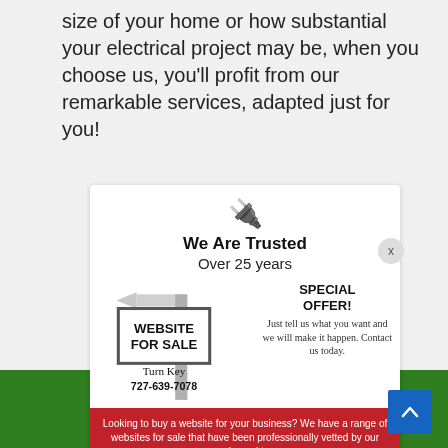size of your home or how substantial your electrical project may be, when you choose us, you'll profit from our remarkable services, adapted just for you!
[Figure (infographic): Popup ad showing a real-estate-style sign for 'WEBSITE FOR SALE', with phone number 727-639-7078, Turn Key, a SPECIAL OFFER notice, and a red banner about buying websites for business. Includes a plug emoji icon and 'We Are Trusted Over 25 years' heading.]
We Are Trusted
Over 25 years
SPECIAL OFFER!
Just tell us what you want and we will make it happen. Contact us today.
Looking to buy a website for your business? We have a range of websites for sale that have been professionally vetted by our experienced team.